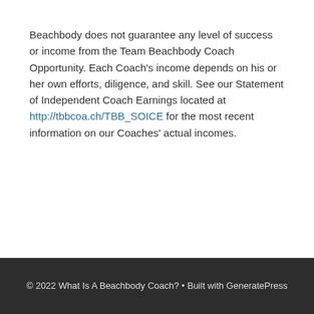Beachbody does not guarantee any level of success or income from the Team Beachbody Coach Opportunity. Each Coach's income depends on his or her own efforts, diligence, and skill. See our Statement of Independent Coach Earnings located at http://tbbcoa.ch/TBB_SOICE for the most recent information on our Coaches' actual incomes.
© 2022 What Is A Beachbody Coach? • Built with GeneratePress